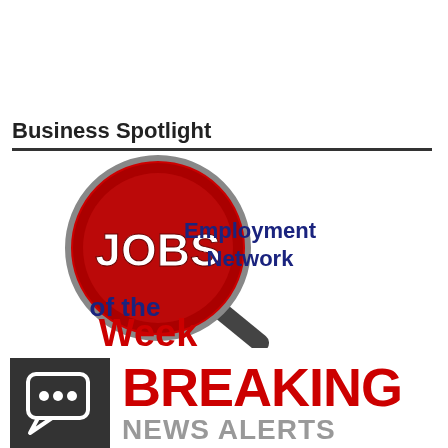Business Spotlight
[Figure (logo): JOBS Employment Network of the Week logo — red magnifying glass with JOBS text, dark blue 'of the Week' text, blue 'Employment Network' text]
[Figure (logo): Breaking News Alerts logo — dark grey background with white chat bubble icon on left, red BREAKING text on right with grey NEWS ALERTS text below]